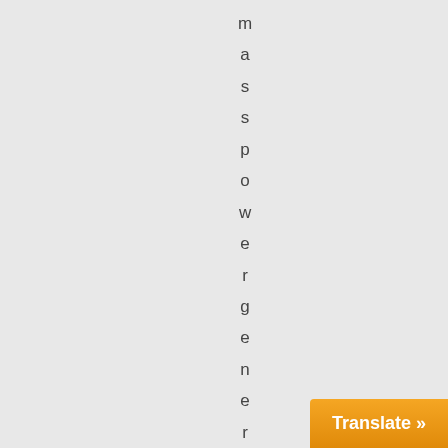masspowergenerationsolu
[Figure (screenshot): Orange 'Translate »' button in bottom-right corner]